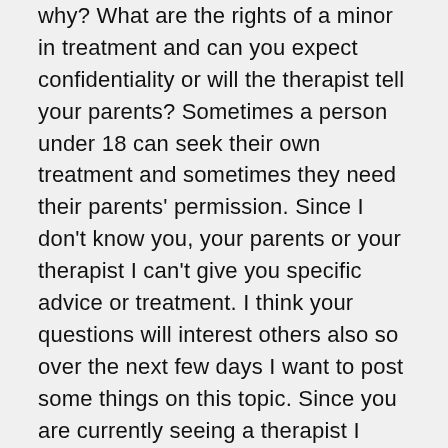why? What are the rights of a minor in treatment and can you expect confidentiality or will the therapist tell your parents? Sometimes a person under 18 can seek their own treatment and sometimes they need their parents' permission. Since I don't know you, your parents or your therapist I can't give you specific advice or treatment. I think your questions will interest others also so over the next few days I want to post some things on this topic. Since you are currently seeing a therapist I suggest you discuss the issue of what they will tell your parents and what they can keep confidential with your therapist. But if this is an emergency, if there is any chance you would hurt yourself